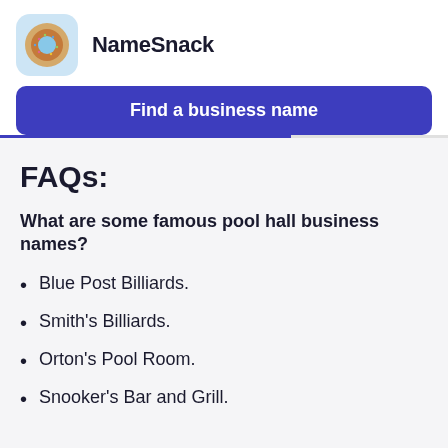NameSnack
Find a business name
FAQs:
What are some famous pool hall business names?
Blue Post Billiards.
Smith's Billiards.
Orton's Pool Room.
Snooker's Bar and Grill.